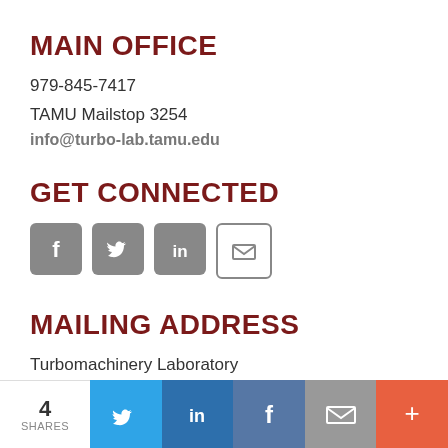MAIN OFFICE
979-845-7417
TAMU Mailstop 3254
info@turbo-lab.tamu.edu
GET CONNECTED
[Figure (infographic): Social media icons: Facebook, Twitter, LinkedIn, Email (envelope)]
MAILING ADDRESS
Turbomachinery Laboratory
1485 George Bush Dr. West
[Figure (infographic): Share bar at bottom: 4 SHARES count, Twitter, LinkedIn, Facebook, Email, Plus buttons]